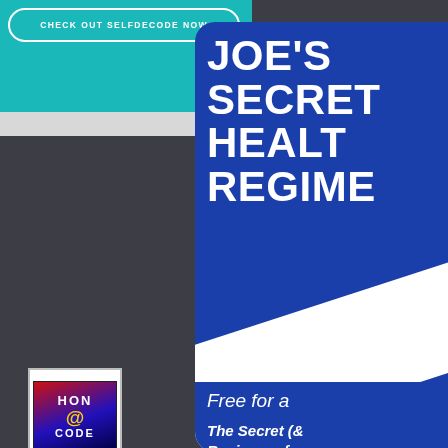[Figure (screenshot): Teal/cyan top bar background with rounded button labeled CHECK OUT SELFDECODE NOW]
CHECK OUT SELFDECODE NOW
[Figure (illustration): Blue rounded card on right side with bold white text: JOE'S SECRET HEALTH REGIMEN and white diagonal stripe, lower section with italic text Free for a... The Secret (& ... Regimen of...]
JOE'S SECRET HEALTH REGIMEN
Free for a
The Secret (&
Regimen of
[Figure (logo): HON @ CODE CERTIFIED 08/2020 badge]
Our website services, content, and p informational purposes only. Selfhac provide medical advice, diagnosis, o additional information
SelfHacked © 2013 - Reserved
Navigation